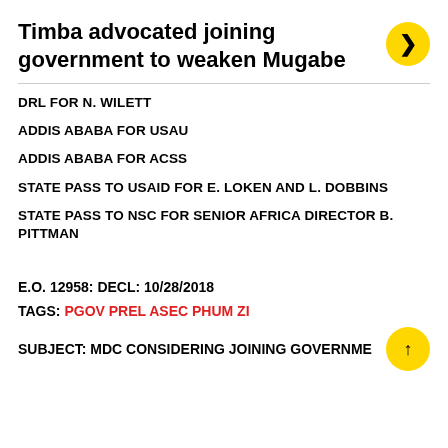Timba advocated joining government to weaken Mugabe
DRL FOR N. WILETT
ADDIS ABABA FOR USAU
ADDIS ABABA FOR ACSS
STATE PASS TO USAID FOR E. LOKEN AND L. DOBBINS
STATE PASS TO NSC FOR SENIOR AFRICA DIRECTOR B. PITTMAN
E.O. 12958: DECL: 10/28/2018
TAGS: PGOV PREL ASEC PHUM ZI
SUBJECT: MDC CONSIDERING JOINING GOVERNMENT